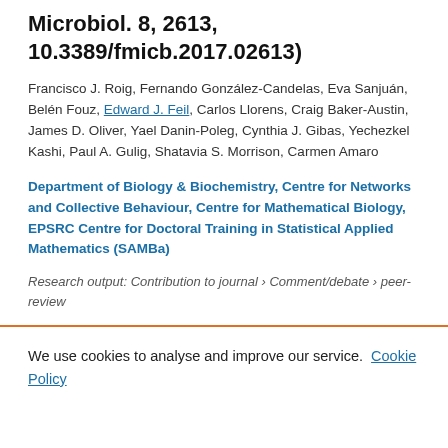Microbiol. 8, 2613, 10.3389/fmicb.2017.02613)
Francisco J. Roig, Fernando González-Candelas, Eva Sanjuán, Belén Fouz, Edward J. Feil, Carlos Llorens, Craig Baker-Austin, James D. Oliver, Yael Danin-Poleg, Cynthia J. Gibas, Yechezkel Kashi, Paul A. Gulig, Shatavia S. Morrison, Carmen Amaro
Department of Biology & Biochemistry, Centre for Networks and Collective Behaviour, Centre for Mathematical Biology, EPSRC Centre for Doctoral Training in Statistical Applied Mathematics (SAMBa)
Research output: Contribution to journal › Comment/debate › peer-review
We use cookies to analyse and improve our service. Cookie Policy